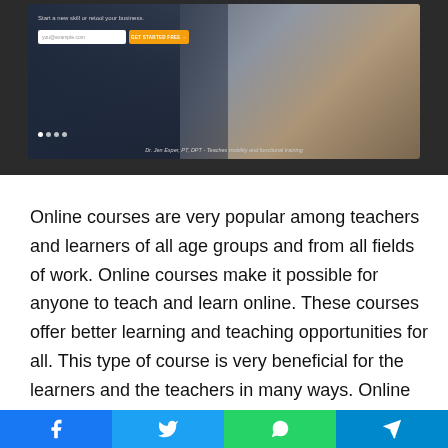[Figure (screenshot): Screenshot of an online course website with a dark overlay, email input form, orange CTA button, and background photo of a person exercising. Caption reads: Dr. Jen Esper, PT, DPT - Teaches mobility and functional training.]
Online courses are very popular among teachers and learners of all age groups and from all fields of work. Online courses make it possible for anyone to teach and learn online. These courses offer better learning and teaching opportunities for all. This type of course is very beneficial for the learners and the teachers in many ways. Online education is a lot more flexible and inclusive due to online courses. These courses have offered online sources of learning for a very wide range of subjects and topics that might or might not be a part of the school or college syllabus in most parts of the world. Online courses can be created by professionals from any field. This